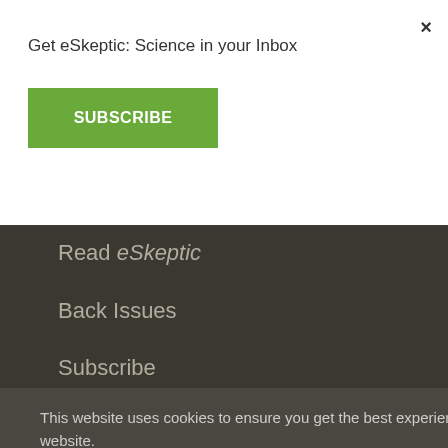Get eSkeptic: Science in your Inbox
×
SUBSCRIBE
Read eSkeptic
Back Issues
Subscribe
This website uses cookies to ensure you get the best experience on our website.
Learn more.
GOT IT!
Shop Online